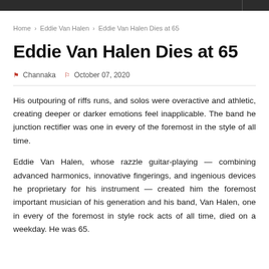Home › Eddie Van Halen › Eddie Van Halen Dies at 65
Eddie Van Halen Dies at 65
Channaka   October 07, 2020
His outpouring of riffs runs, and solos were overactive and athletic, creating deeper or darker emotions feel inapplicable. The band he junction rectifier was one in every of the foremost in the style of all time.
Eddie Van Halen, whose razzle guitar-playing — combining advanced harmonics, innovative fingerings, and ingenious devices he proprietary for his instrument — created him the foremost important musician of his generation and his band, Van Halen, one in every of the foremost in style rock acts of all time, died on a weekday. He was 65.